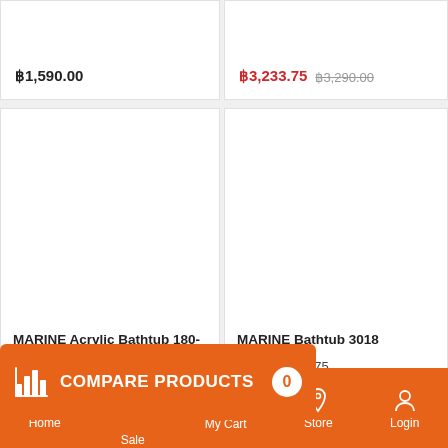฿1,590.00
฿3,233.75  ฿3,290.00
[Figure (other): Product image area for MARINE Acrylic Bathtub 180-80 (white/empty area)]
MARINE Acrylic Bathtub 180-80
SKU: 10289671
[Figure (other): Product image area for MARINE Bathtub 3018 (white/empty area)]
MARINE Bathtub 3018
SKU: 10289675
฿1,990.00
COMPARE PRODUCTS  0
Home  Flash Sale  My Cart  Store  Login